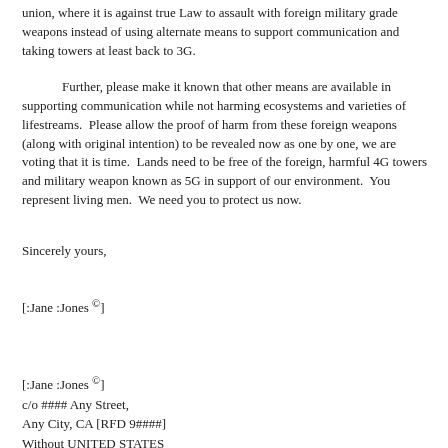union, where it is against true Law to assault with foreign military grade weapons instead of using alternate means to support communication and taking towers at least back to 3G.
Further, please make it known that other means are available in supporting communication while not harming ecosystems and varieties of lifestreams.  Please allow the proof of harm from these foreign weapons (along with original intention) to be revealed now as one by one, we are voting that it is time.  Lands need to be free of the foreign, harmful 4G towers and military weapon known as 5G in support of our environment.  You represent living men.  We need you to protect us now.
Sincerely yours,
[:Jane :Jones ©]
[:Jane :Jones ©]
c/o #### Any Street,
Any City, CA [RFD 9####]
Without UNITED STATES